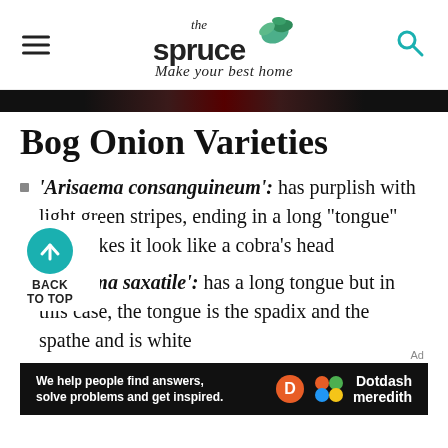the spruce — Make your best home
Bog Onion Varieties
'Arisaema consanguineum': has purplish with light green stripes, ending in a long "tongue" that makes it look like a cobra's head
'Arisaema saxatile': has a long tongue but in this case, the tongue is the spadix and the spathe and is white